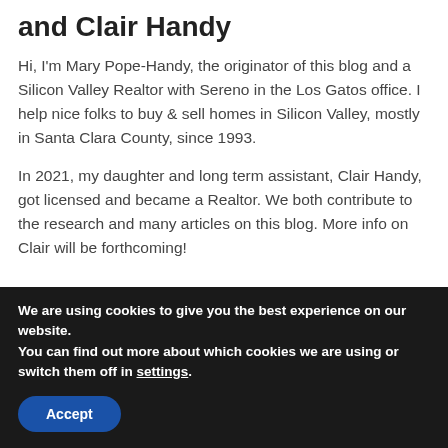and Clair Handy
Hi, I'm Mary Pope-Handy, the originator of this blog and a Silicon Valley Realtor with Sereno in the Los Gatos office. I help nice folks to buy & sell homes in Silicon Valley, mostly in Santa Clara County, since 1993.
In 2021, my daughter and long term assistant, Clair Handy, got licensed and became a Realtor. We both contribute to the research and many articles on this blog. More info on Clair will be forthcoming!
[Figure (photo): Partial view of a photo strip with warm golden/brown tones]
We are using cookies to give you the best experience on our website.
You can find out more about which cookies we are using or switch them off in settings.
Accept